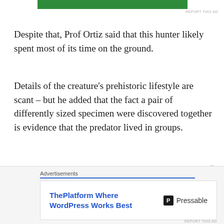[Figure (other): Green banner/advertisement bar at the top of the page]
REPORT THIS AD
Despite that, Prof Ortiz said that this hunter likely spent most of its time on the ground.
Details of the creature’s prehistoric lifestyle are scant – but he added that the fact a pair of differently sized specimen were discovered together is evidence that the predator lived in groups.
The fearsome reptile lived some 20 million years before an asteroid hit the earth in a catastrophic extinction event.
Advertisements
[Figure (screenshot): Advertisement for Pressable: ThePlatform Where WordPress Works Best]
REPORT THIS AD